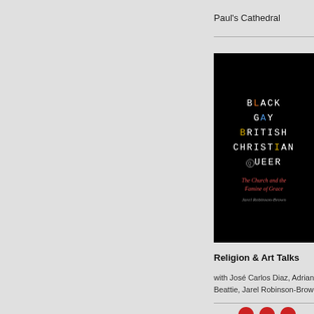Paul's Cathedral
[Figure (photo): Book cover of 'Black Gay British Christian Queer: The Church and the Famine of Grace' by Jarel Robinson-Brown. Black background with each word stacked vertically, with individual colored letters (L in orange, G in blue, B in yellow, T in yellow, O outline). Subtitle in red italic text, author name in grey italic.]
Religion & Art Talks
with José Carlos Diaz, Adrian R Beattie, Jarel Robinson-Brown